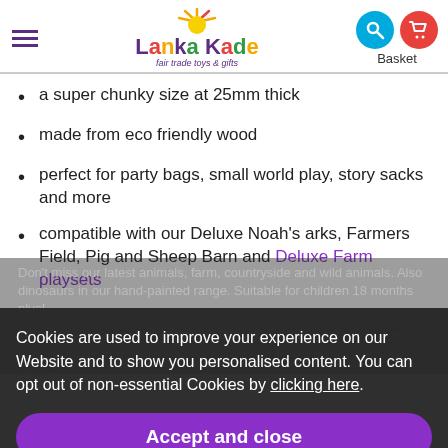Lanka Kade - fair trade toys & gifts
a super chunky size at 25mm thick
made from eco friendly wood
perfect for party bags, small world play, story sacks and more
compatible with our Deluxe Noah's arks, Farmers Field, Pig and Sheep Barn and Deluxe Farm playsets
Cookies are used to improve your experience on our Website and to show you personalised content. You can opt out of non-essential Cookies by clicking here.
Accept and close